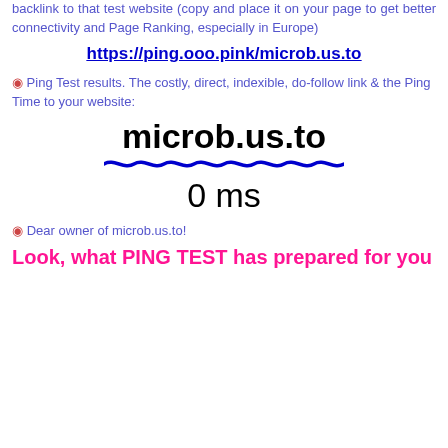backlink to that test website (copy and place it on your page to get better connectivity and Page Ranking, especially in Europe)
https://ping.ooo.pink/microb.us.to
⊙ Ping Test results. The costly, direct, indexible, do-follow link & the Ping Time to your website:
microb.us.to
0 ms
⊙ Dear owner of microb.us.to!
Look, what PING TEST has prepared for you